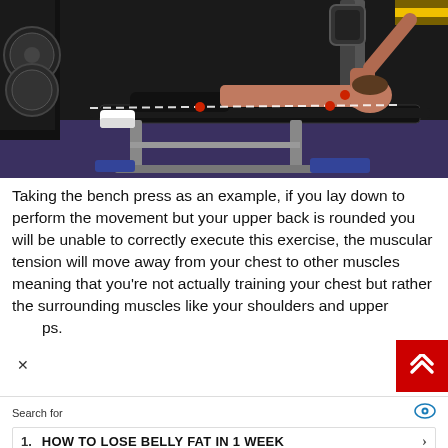[Figure (photo): A shirtless man with tattoos lying on a gym bench performing a bench press exercise. Weight plates and gym equipment visible in the background. A dashed white line overlays the image indicating movement path.]
Taking the bench press as an example, if you lay down to perform the movement but your upper back is rounded you will be unable to correctly execute this exercise, the muscular tension will move away from your chest to other muscles meaning that you're not actually training your chest but rather the surrounding muscles like your shoulders and upper ps.
Search for
1. HOW TO LOSE BELLY FAT IN 1 WEEK
Yahoo! Search | Sponsored